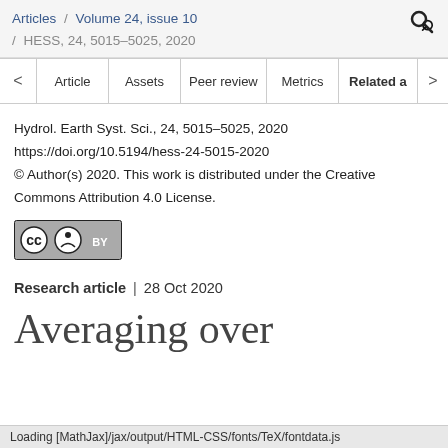Articles / Volume 24, issue 10 / HESS, 24, 5015–5025, 2020
Article | Assets | Peer review | Metrics | Related a
Hydrol. Earth Syst. Sci., 24, 5015–5025, 2020
https://doi.org/10.5194/hess-24-5015-2020
© Author(s) 2020. This work is distributed under the Creative Commons Attribution 4.0 License.
[Figure (logo): Creative Commons BY license badge]
Research article | 28 Oct 2020
Averaging over
Loading [MathJax]/jax/output/HTML-CSS/fonts/TeX/fontdata.js